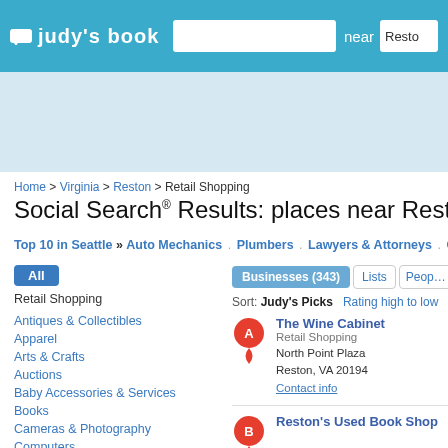judy's book [search bar] near Reston
[Figure (screenshot): Advertisement banner area]
Home > Virginia > Reston > Retail Shopping
Social Search® Results: places near Reston, VA (0.01...
Top 10 in Seattle » Auto Mechanics . Plumbers . Lawyers & Attorneys . Credit Uni...
All
Retail Shopping
Antiques & Collectibles
Apparel
Arts & Crafts
Auctions
Baby Accessories & Services
Books
Cameras & Photography
Computers
Businesses (343)  Lists  People
Sort: Judy's Picks  Rating high to low
The Wine Cabinet
Retail Shopping
North Point Plaza
Reston, VA 20194
Contact info
Reston's Used Book Shop